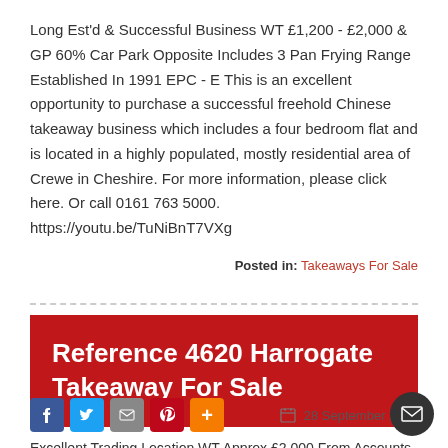Long Est'd & Successful Business WT £1,200 - £2,000 & GP 60% Car Park Opposite Includes 3 Pan Frying Range Established In 1991 EPC - E This is an excellent opportunity to purchase a successful freehold Chinese takeaway business which includes a four bedroom flat and is located in a highly populated, mostly residential area of Crewe in Cheshire. For more information, please click here. Or call 0161 763 5000. https://youtu.be/TuNiBnT7VXg
Posted in: Takeaways For Sale
Reference 4620 Harrogate Takeaway For Sale
28 September 2015
Excellent Trading Location WT Approx £2,000 From Accounts Strong